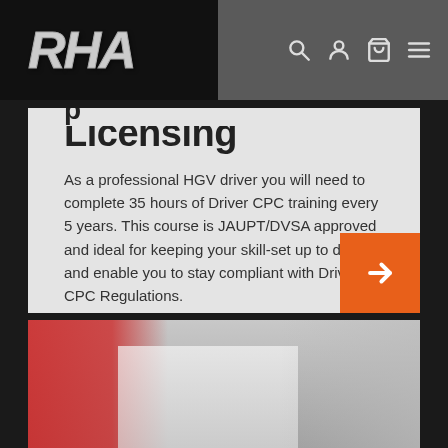RHA
Licensing
As a professional HGV driver you will need to complete 35 hours of Driver CPC training every 5 years. This course is JAUPT/DVSA approved and ideal for keeping your skill-set up to date and enable you to stay compliant with Driver CPC Regulations.
[Figure (photo): Photo of people in work/training setting, person in red vest visible at bottom of page]